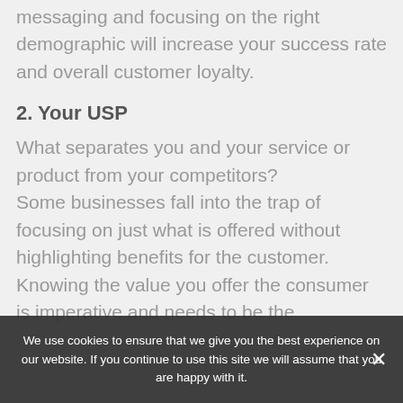messaging and focusing on the right demographic will increase your success rate and overall customer loyalty.
2. Your USP
What separates you and your service or product from your competitors?
Some businesses fall into the trap of focusing on just what is offered without highlighting benefits for the customer. Knowing the value you offer the consumer is imperative and needs to be the
We use cookies to ensure that we give you the best experience on our website. If you continue to use this site we will assume that you are happy with it.